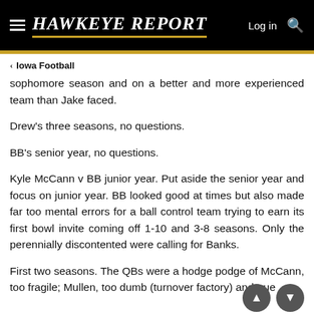Hawkeye Report — Log in
sophomore season and on a better and more experienced team than Jake faced.
Drew's three seasons, no questions.
BB's senior year, no questions.
Kyle McCann v BB junior year. Put aside the senior year and focus on junior year. BB looked good at times but also made far too mental errors for a ball control team trying to earn its first bowl invite coming off 1-10 and 3-8 seasons. Only the perennially discontented were calling for Banks.
First two seasons. The QBs were a hodge podge of McCann, too fragile; Mullen, too dumb (turnover factory) and true freshman, too. Bret the 1st lol. KF was the closest for a long...